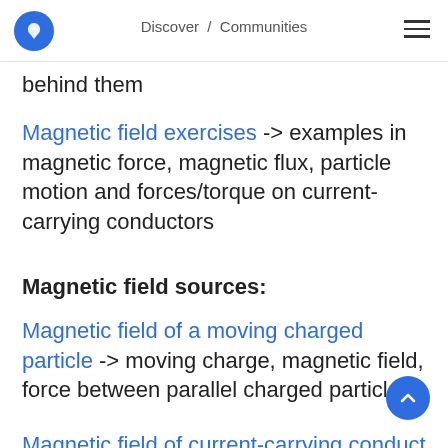Discover / Communities
behind them
Magnetic field exercises -> examples in magnetic force, magnetic flux, particle motion and forces/torque on current-carrying conductors
Magnetic field sources:
Magnetic field of a moving charged particle -> moving charge, magnetic field, force between parallel charged particles
Magnetic field of current-carrying conductors